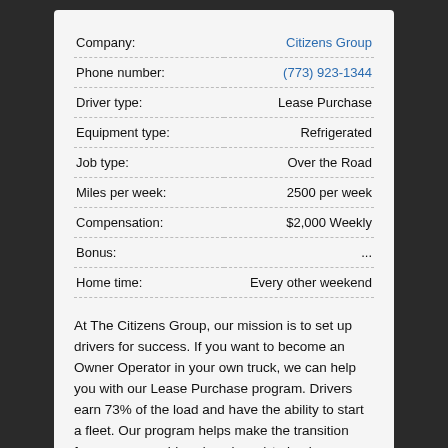| Field | Value |
| --- | --- |
| Company: | Citizens Group |
| Phone number: | (773) 923-1344 |
| Driver type: | Lease Purchase |
| Equipment type: | Refrigerated |
| Job type: | Over the Road |
| Miles per week: | 2500 per week |
| Compensation: | $2,000 Weekly |
| Bonus: | ... |
| Home time: | Every other weekend |
At The Citizens Group, our mission is to set up drivers for success. If you want to become an Owner Operator in your own truck, we can help you with our Lease Purchase program. Drivers earn 73% of the load and have the ability to start a fleet. Our program helps make the transition from company driver (employee) to business owner. Start d...